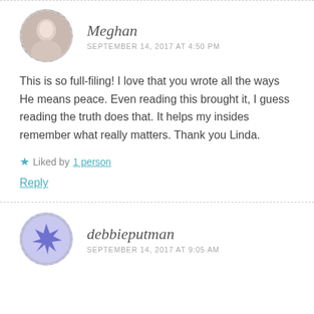[Figure (photo): Circular avatar photo of Meghan, a woman with short light hair]
Meghan
SEPTEMBER 14, 2017 AT 4:50 PM
This is so full-filing! I love that you wrote all the ways He means peace. Even reading this brought it, I guess reading the truth does that. It helps my insides remember what really matters. Thank you Linda.
★ Liked by 1 person
Reply
[Figure (illustration): Circular avatar with a purple snowflake/star shape for debbieputman]
debbieputman
SEPTEMBER 14, 2017 AT 9:05 AM